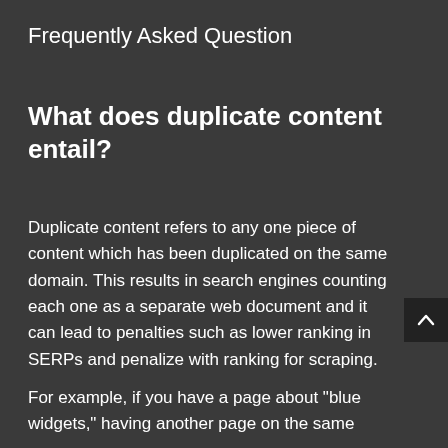Frequently Asked Question
What does duplicate content entail?
Duplicate content refers to any one piece of content which has been duplicated on the same domain. This results in search engines counting each one as a separate web document and it can lead to penalties such as lower ranking in SERPs and penalize with ranking for scraping.
For example, if you have a page about "blue widgets," having another page on the same